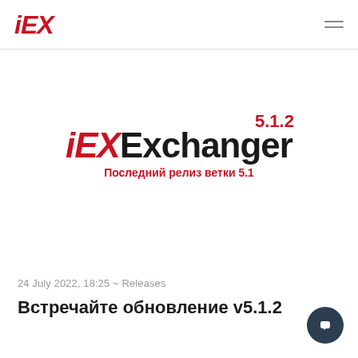iEX
[Figure (logo): iEXExchanger 5.1.2 logo with red 'iEX' italic part, black 'Exchanger' and red '5.1.2' version superscript, subtitle 'Последний релиз ветки 5.1' in red]
24 July 2022, 18:25 ~ Releases
Встречайте обновление v5.1.2